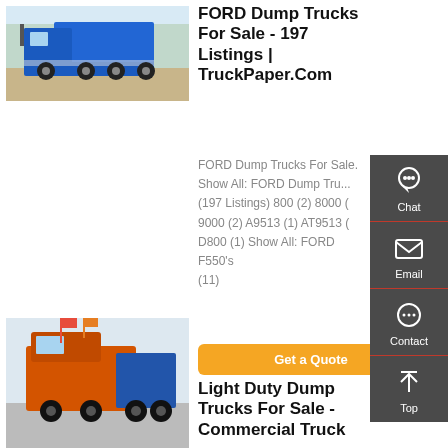[Figure (photo): Blue Ford dump truck parked on sandy ground, side view]
FORD Dump Trucks For Sale - 197 Listings | TruckPaper.Com
FORD Dump Trucks For Sale. Show All: FORD Dump Trucks (197 Listings) 800 (2) 8000 (2) 9000 (2) A9513 (1) AT9513 (1) D800 (1) Show All: FORD F550's (11)
Get a Quote
[Figure (photo): Orange and blue heavy duty truck, rear/side view, with flags and other trucks in background]
Light Duty Dump Trucks For Sale - Commercial Truck